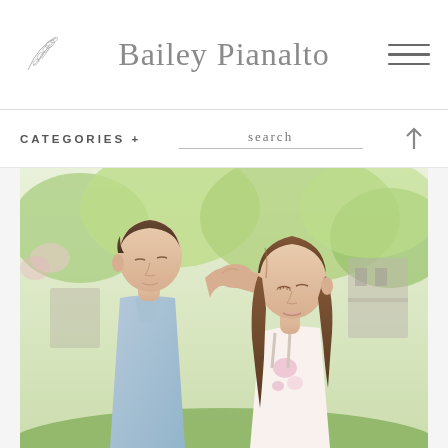Bailey Pianalto
CATEGORIES +
search
[Figure (photo): A couple in a romantic outdoor setting. A young man in a light blue short-sleeve shirt faces a young woman with long brown hair wearing a floral dress. They are leaning their foreheads together in a tender moment, surrounded by green trees and soft natural light.]